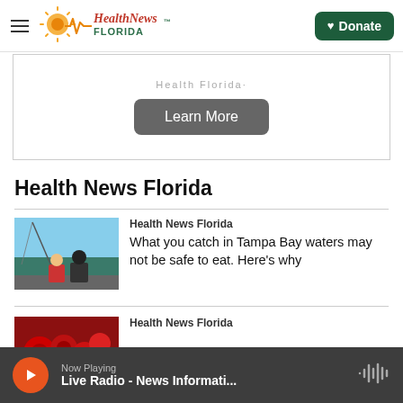Health News Florida — Donate
[Figure (screenshot): Partially visible banner ad with 'Learn More' button]
Health News Florida
Health News Florida
What you catch in Tampa Bay waters may not be safe to eat. Here's why
Health News Florida
Now Playing — Live Radio - News Informati...